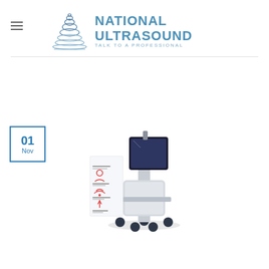NATIONAL ULTRASOUND TALK TO A PROFESSIONAL
[Figure (logo): National Ultrasound logo with ultrasound wave graphic and text NATIONAL ULTRASOUND TALK TO A PROFESSIONAL in blue]
[Figure (photo): Medical ultrasound cart/machine on wheels with a tablet display screen, white and dark grey body, with feature icons listed on a card beside it]
01 Nov